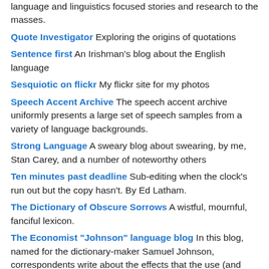language and linguistics focused stories and research to the masses.
Quote Investigator Exploring the origins of quotations
Sentence first An Irishman's blog about the English language
Sesquiotic on flickr My flickr site for my photos
Speech Accent Archive The speech accent archive uniformly presents a large set of speech samples from a variety of language backgrounds.
Strong Language A sweary blog about swearing, by me, Stan Carey, and a number of noteworthy others
Ten minutes past deadline Sub-editing when the clock's run out but the copy hasn't. By Ed Latham.
The Dictionary of Obscure Sorrows A wistful, mournful, fanciful lexicon.
The Economist "Johnson" language blog In this blog, named for the dictionary-maker Samuel Johnson, correspondents write about the effects that the use (and sometimes abuse) of language have on politics, society and culture around the world
The Etyman™ Language Blog Adventures in Etymology and Language
The Ideophone Sounding out ideas on African languages, sound symbolism, and expressivity
The Language of Food Essays on the language of food by Dan Jurafsky.
The ...